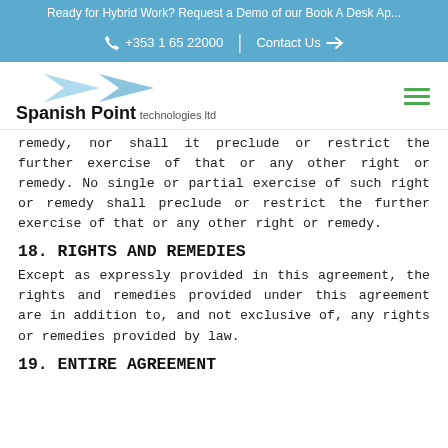Ready for Hybrid Work? Request a Demo of our Book A Desk Ap...
+353 1 65 22000 | Contact Us →
[Figure (logo): Spanish Point technologies ltd logo with blue bowtie/arrow graphic]
remedy, nor shall it preclude or restrict the further exercise of that or any other right or remedy. No single or partial exercise of such right or remedy shall preclude or restrict the further exercise of that or any other right or remedy.
18. RIGHTS AND REMEDIES
Except as expressly provided in this agreement, the rights and remedies provided under this agreement are in addition to, and not exclusive of, any rights or remedies provided by law.
19. ENTIRE AGREEMENT